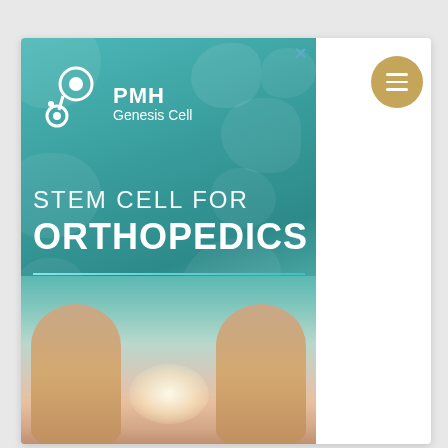[Figure (illustration): PMH Genesis Cell advertisement banner featuring teal background with cell bubble shapes, PMH Genesis Cell logo with molecule icon, 'STEM CELL FOR ORTHOPEDICS' text, teal divider line, and photo of human knees/feet at the bottom with a glowing light between them. A close (X) button is in the upper right of the ad.]